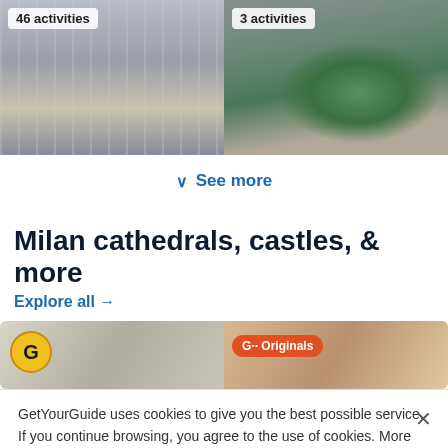[Figure (photo): Left: Photo of a neoclassical building facade with columns, badge '46 activities'. Right: Aerial photo of a football stadium with green pitch, badge '3 activities'.]
46 activities
3 activities
See more
Milan cathedrals, castles, & more
Explore all →
[Figure (photo): Left card: cathedral stone detail with G logo badge. Right card: cathedral interior with G·· Originals orange badge.]
GetYourGuide uses cookies to give you the best possible service. If you continue browsing, you agree to the use of cookies. More details can be found in our privacy policy.